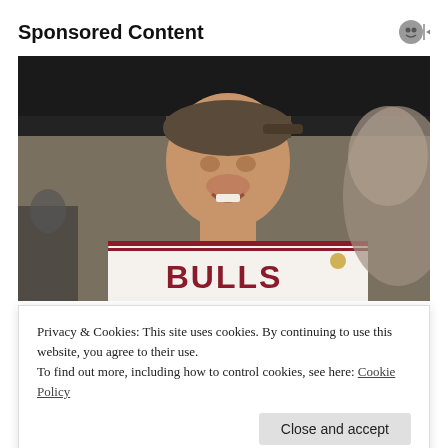Sponsored Content
[Figure (photo): A man wearing a Chicago Bulls white basketball jersey and a cap, smiling, with another person partially visible on the right.]
Privacy & Cookies: This site uses cookies. By continuing to use this website, you agree to their use.
To find out more, including how to control cookies, see here: Cookie Policy
Close and accept